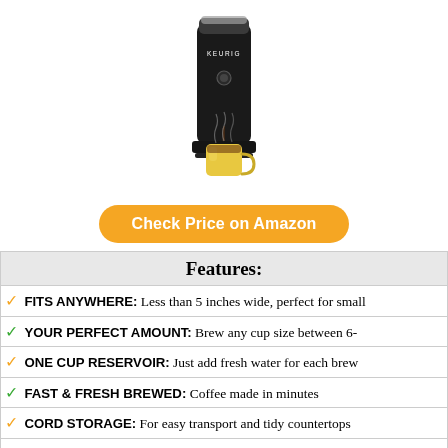[Figure (photo): Keurig single-serve coffee maker in black with a yellow mug underneath, product photo on white background]
Check Price on Amazon
| Features: |
| --- |
| ✓ FITS ANYWHERE: Less than 5 inches wide, perfect for small |
| ✓ YOUR PERFECT AMOUNT: Brew any cup size between 6- |
| ✓ ONE CUP RESERVOIR: Just add fresh water for each brew |
| ✓ FAST & FRESH BREWED: Coffee made in minutes |
| ✓ CORD STORAGE: For easy transport and tidy countertops |
| ✓ TRAVEL MUG FRIENDLY: Removable drip tray |